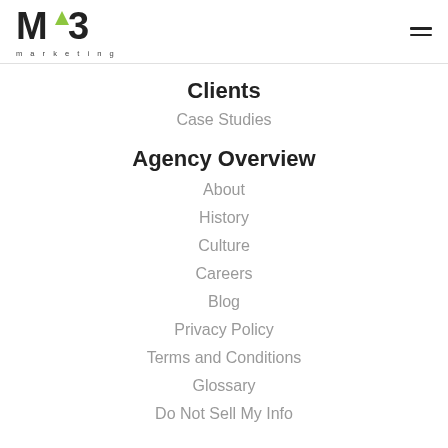MV3 marketing — navigation header
Clients
Case Studies
Agency Overview
About
History
Culture
Careers
Blog
Privacy Policy
Terms and Conditions
Glossary
Do Not Sell My Info